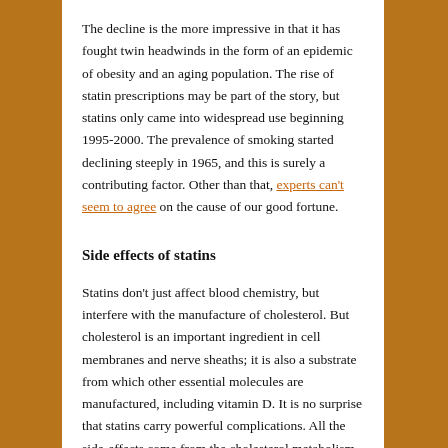The decline is the more impressive in that it has fought twin headwinds in the form of an epidemic of obesity and an aging population. The rise of statin prescriptions may be part of the story, but statins only came into widespread use beginning 1995-2000. The prevalence of smoking started declining steeply in 1965, and this is surely a contributing factor. Other than that, experts can't seem to agree on the cause of our good fortune.
Side effects of statins
Statins don't just affect blood chemistry, but interfere with the manufacture of cholesterol. But cholesterol is an important ingredient in cell membranes and nerve sheaths; it is also a substrate from which other essential molecules are manufactured, including vitamin D. It is no surprise that statins carry powerful complications. All the side-effects come from the cholesterol metabolism, and not the anti-inflammatory action, so they may be